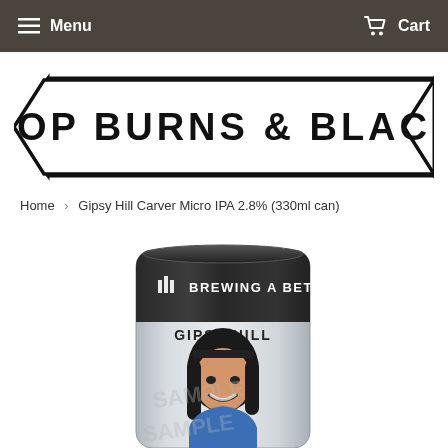Menu  Cart
[Figure (logo): Hop Burns & Black logo — banner/pennant style with text HOP BURNS & BLACK]
Home › Gipsy Hill Carver Micro IPA 2.8% (330ml can)
[Figure (photo): Gipsy Hill Carver Micro IPA 330ml can — dark top with 'BREWING A BETT...' text, light silver/grey body with 'GIPSY HILL' brand and illustrated portrait of a woman with dark hair]